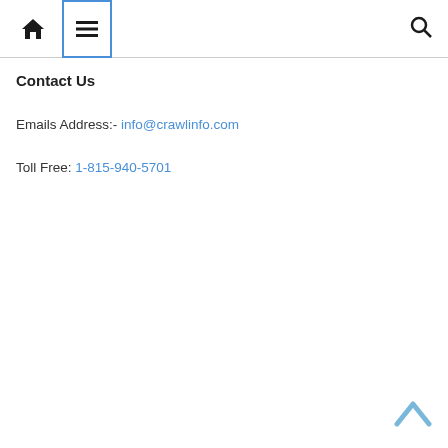Home | Menu | Search
Contact Us
Emails Address:- info@crawlinfo.com
Toll Free: 1-815-940-5701